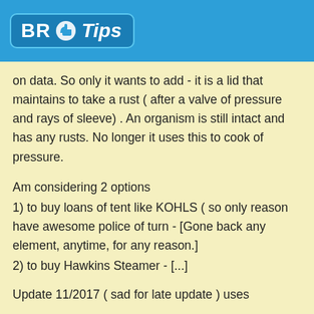BR Tips
on data. So only it wants to add - it is a lid that maintains to take a rust ( after a valve of pressure and rays of sleeve) . An organism is still intact and has any rusts. No longer it uses this to cook of pressure.
Am considering 2 options
1) to buy loans of tent like KOHLS ( so only reason have awesome police of turn - [Gone back any element, anytime, for any reason.]
2) to buy Hawkins Steamer - [...]
Update 11/2017 ( sad for late update ) uses